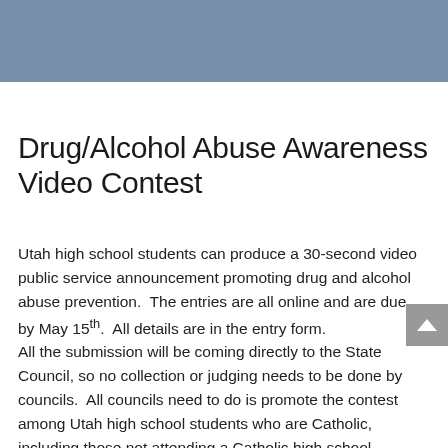[Figure (other): Steel blue header bar spanning the top of the page]
Drug/Alcohol Abuse Awareness Video Contest
Utah high school students can produce a 30-second video public service announcement promoting drug and alcohol abuse prevention.  The entries are all online and are due by May 15th.  All details are in the entry form.
All the submission will be coming directly to the State Council, so no collection or judging needs to be done by councils.  All councils need to do is promote the contest among Utah high school students who are Catholic, including those not attending a Catholic high school.